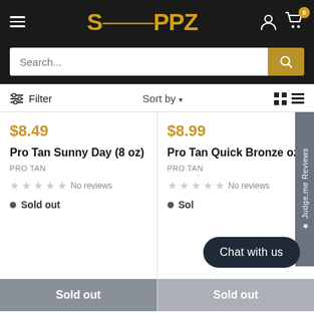SUPPZ — navigation header with hamburger menu, logo, user icon, and cart (0 items)
Search...
Filter  Sort by
$8.49
Pro Tan Sunny Day (8 oz)
PRO TAN
No reviews
Sold out
$8.99
Pro Tan Quick Bronze oz)
PRO TAN
No reviews
Sold out
Chat with us